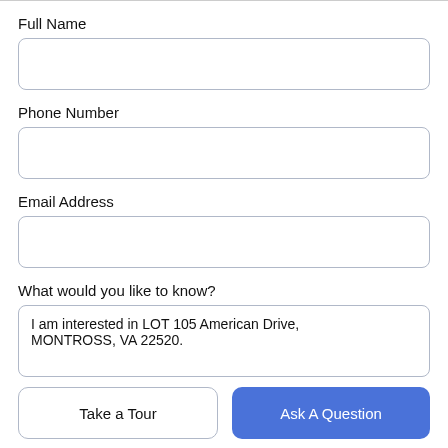Full Name
[Figure (other): Empty text input field for Full Name]
Phone Number
[Figure (other): Empty text input field for Phone Number]
Email Address
[Figure (other): Empty text input field for Email Address]
What would you like to know?
[Figure (other): Textarea with text: I am interested in LOT 105 American Drive, MONTROSS, VA 22520.]
Take a Tour
Ask A Question